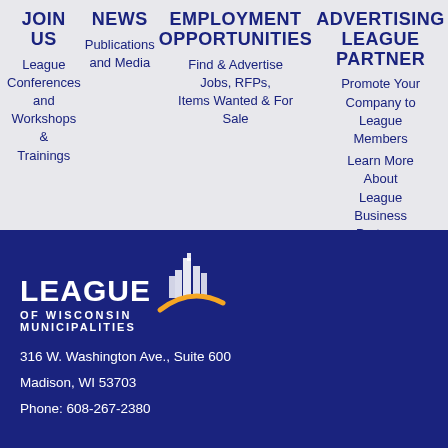JOIN US | NEWS | EMPLOYMENT OPPORTUNITIES | ADVERTISING | LEAGUE PARTNER
League | Publications and Media | Find & Advertise Jobs, RFPs, Items Wanted & For Sale | Promote Your Company to League Members | Learn More About League Business Partners
Conferences and Workshops & Trainings
[Figure (logo): League of Wisconsin Municipalities logo with city skyline graphic and gold arc]
316 W. Washington Ave., Suite 600
Madison, WI 53703
Phone: 608-267-2380